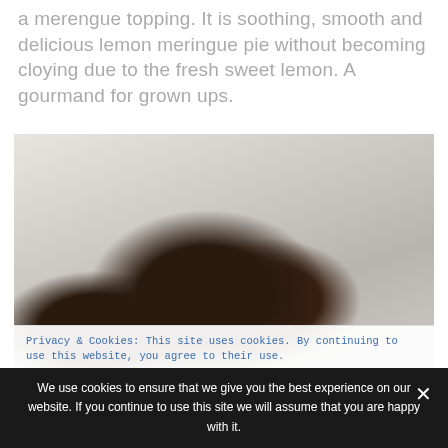a merengue topping. It is soothing, smooth and delicious lemon meringue pie without becoming cloying due to the fresh sweet lemon. A gourmand for grown ups.
[Figure (photo): Two pieces of dark chocolate on a light grey fabric background]
Privacy & Cookies: This site uses cookies. By continuing to use this website, you agree to their use.
We use cookies to ensure that we give you the best experience on our website. If you continue to use this site we will assume that you are happy with it.